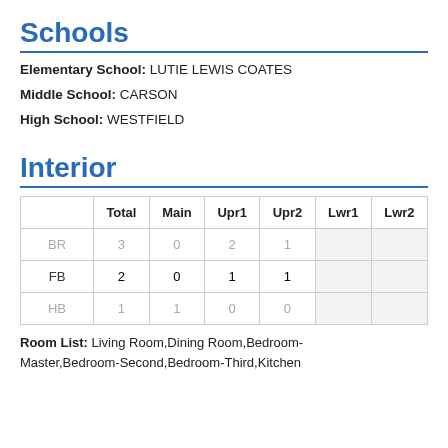Schools
Elementary School: LUTIE LEWIS COATES
Middle School: CARSON
High School: WESTFIELD
Interior
|  | Total | Main | Upr1 | Upr2 | Lwr1 | Lwr2 |
| --- | --- | --- | --- | --- | --- | --- |
| BR | 3 | 0 | 2 | 1 |  |  |
| FB | 2 | 0 | 1 | 1 |  |  |
| HB | 1 | 1 | 0 | 0 |  |  |
Room List: Living Room,Dining Room,Bedroom-Master,Bedroom-Second,Bedroom-Third,Kitchen